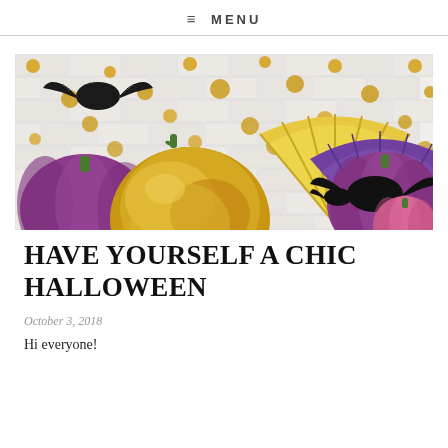≡ MENU
[Figure (photo): Halloween decoration photo with purple and gold pumpkins, gold foil pompom, bat cutouts, yellow and purple paper fans against a white brick wall with gold polka dot garland]
HAVE YOURSELF A CHIC HALLOWEEN
October 3, 2018
Hi everyone!